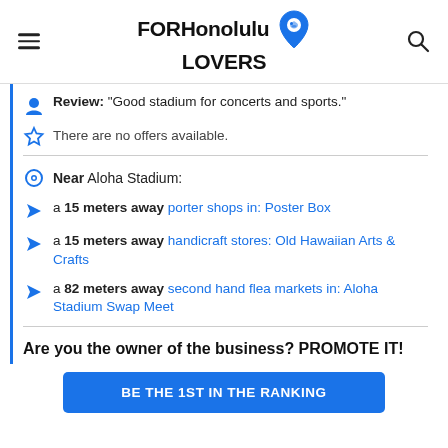FORHonolulu LOVERS
Review: "Good stadium for concerts and sports."
There are no offers available.
Near Aloha Stadium:
a 15 meters away porter shops in: Poster Box
a 15 meters away handicraft stores: Old Hawaiian Arts & Crafts
a 82 meters away second hand flea markets in: Aloha Stadium Swap Meet
Are you the owner of the business? PROMOTE IT!
BE THE 1ST IN THE RANKING